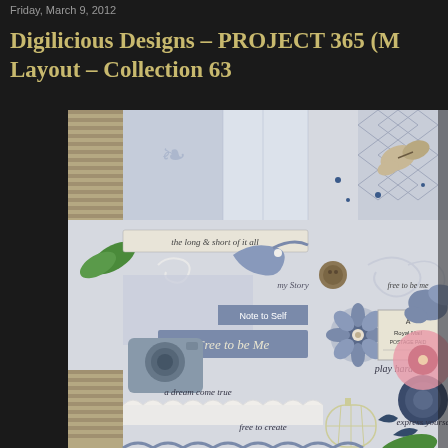Friday, March 9, 2012
Digilicious Designs – PROJECT 365 (M... Layout – Collection 63
[Figure (illustration): Digital scrapbook kit preview image showing a collage of papers, embellishments, flowers, butterflies, birds, camera, birdcage, and text labels in blue, cream, tan, and pink color palette. Visible text snippets include: 'the long & short of it all', 'my Story', 'Note to Self', 'Free to be Me', 'free to be me', 'Royal Mail POSTAGE PAID', 'play harder', 'a dream come true', 'free to create', 'express yourse...']